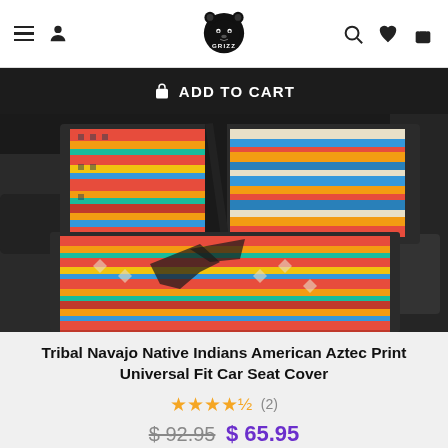GRIZZ store navigation header
ADD TO CART
[Figure (photo): Car seats covered with Tribal Navajo Native Indians American Aztec Print seat covers in colorful red, orange, blue, teal, and beige geometric patterns inside a car interior.]
Tribal Navajo Native Indians American Aztec Print Universal Fit Car Seat Cover
★★★★½ (2)
$92.95  $65.95